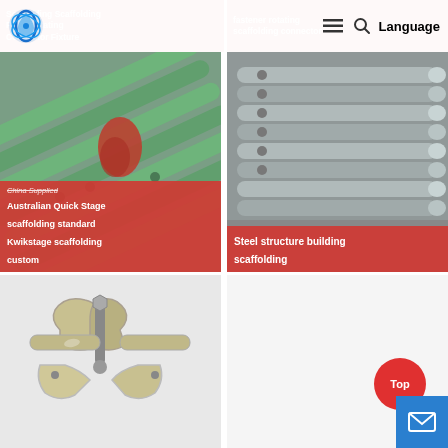[Figure (screenshot): Website product listing page showing scaffolding products in a two-column grid layout with red category labels, a logo, navigation icons, Language button, and Top/email buttons.]
Scaffolding Scaffolding Pillar Rotating Connector Fixture
fastener rotating scaffolding connector
[Figure (photo): Green-painted scaffolding tubes/pipes spread out with red clamp fittings visible]
China Supplied Australian Quick Stage scaffolding standard Kwikstage scaffolding custom
[Figure (photo): Stacked galvanized steel scaffolding ledger bars/pipes in a warehouse setting]
Steel structure building scaffolding
[Figure (photo): Close-up of galvanized steel scaffolding swivel/coupler clamp fitting]
Top
Language